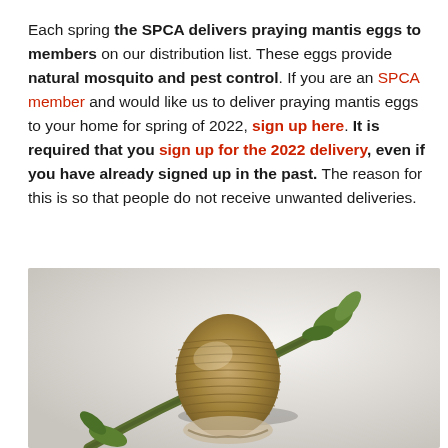Each spring the SPCA delivers praying mantis eggs to members on our distribution list. These eggs provide natural mosquito and pest control. If you are an SPCA member and would like us to deliver praying mantis eggs to your home for spring of 2022, sign up here. It is required that you sign up for the 2022 delivery, even if you have already signed up in the past. The reason for this is so that people do not receive unwanted deliveries.
[Figure (photo): Close-up photograph of a praying mantis egg sac (ootheca) attached to a green plant stem with small leaves, on a white background.]